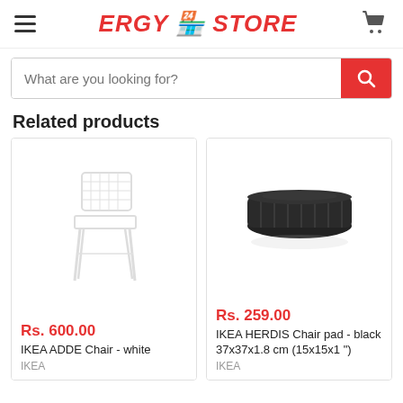ERGY 🏪 STORE
What are you looking for?
Related products
[Figure (photo): White IKEA ADDE chair with metal legs on white background]
Rs. 600.00
IKEA ADDE Chair - white
IKEA
[Figure (photo): Black IKEA HERDIS chair pad on white background]
Rs. 259.00
IKEA HERDIS Chair pad - black 37x37x1.8 cm (15x15x1")
IKEA